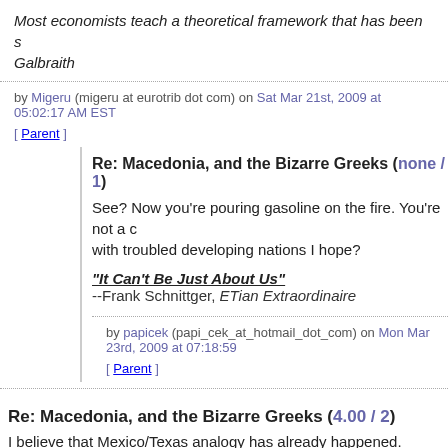Most economists teach a theoretical framework that has been s Galbraith
by Migeru (migeru at eurotrib dot com) on Sat Mar 21st, 2009 at 05:02:17 AM EST
[ Parent ]
Re: Macedonia, and the Bizarre Greeks (none / 1)
See? Now you're pouring gasoline on the fire. You're not a c with troubled developing nations I hope?
"It Can't Be Just About Us"
--Frank Schnittger, ETian Extraordinaire
by papicek (papi_cek_at_hotmail_dot_com) on Mon Mar 23rd, 2009 at 07:18:59
[ Parent ]
Re: Macedonia, and the Bizarre Greeks (4.00 / 2)
I believe that Mexico/Texas analogy has already happened.
Several times.